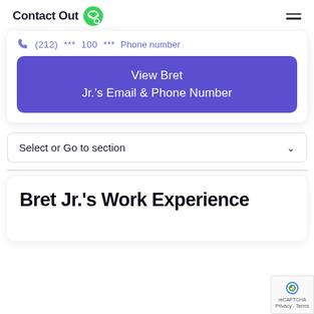Contact Out
(212) *** 100 *** Phone number
View Bret Jr.'s Email & Phone Number
Select or Go to section
Bret Jr.'s Work Experience